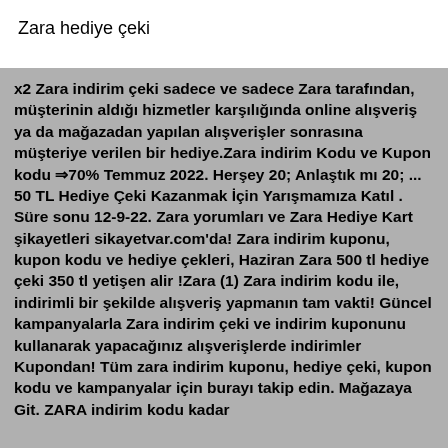Zara hediye çeki
x2 Zara indirim çeki sadece ve sadece Zara tarafından, müşterinin aldığı hizmetler karşılığında online alışveriş ya da mağazadan yapılan alışverişler sonrasına müşteriye verilen bir hediye.Zara indirim Kodu ve Kupon kodu ⇒70% Temmuz 2022. Herşey 20; Anlaştık mı 20; ... 50 TL Hediye Çeki Kazanmak İçin Yarışmamıza Katıl . Süre sonu 12-9-22. Zara yorumları ve Zara Hediye Kart şikayetleri sikayetvar.com'da! Zara indirim kuponu, kupon kodu ve hediye çekleri, Haziran Zara 500 tl hediye çeki 350 tl yetişen alir !Zara (1) Zara indirim kodu ile, indirimli bir şekilde alışveriş yapmanın tam vakti! Güncel kampanyalarla Zara indirim çeki ve indirim kuponunu kullanarak yapacağınız alışverişlerde indirimler Kupondan! Tüm zara indirim kuponu, hediye çeki, kupon kodu ve kampanyalar için burayı takip edin. Mağazaya Git. ZARA indirim kodu kadar